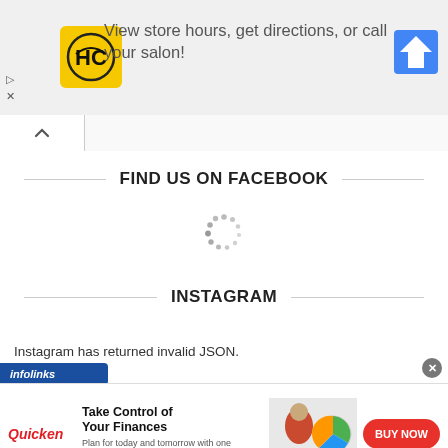[Figure (screenshot): Top banner advertisement for HC (Hair Club or similar) salon showing HC logo, text 'View store hours, get directions, or call your salon!', and a navigation/directions icon. Has ad controls (play/close) on the left.]
[Figure (screenshot): Browser tab bar with an up-arrow (collapse) tab button]
FIND US ON FACEBOOK
[Figure (other): Loading spinner (circular dotted animation indicator)]
INSTAGRAM
Instagram has returned invalid JSON.
[Figure (screenshot): Infolinks bar and Quicken advertisement banner: 'Take Control of Your Finances — Plan for today and tomorrow with one solution to manage all your finances.' with BUY NOW button and Quicken logo, plus a close (x) button.]